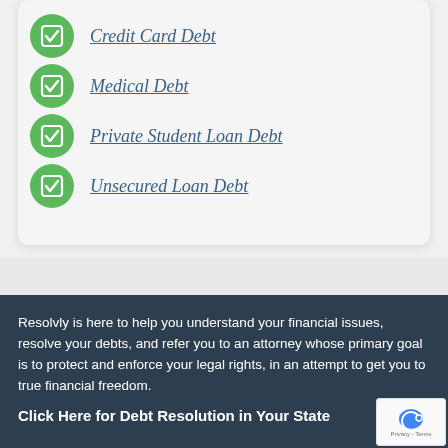Credit Card Debt
Medical Debt
Private Student Loan Debt
Unsecured Loan Debt
Resolvly is here to help you understand your financial issues, resolve your debts, and refer you to an attorney whose primary goal is to protect and enforce your legal rights, in an attempt to get you to true financial freedom.
Click Here for Debt Resolution in Your State